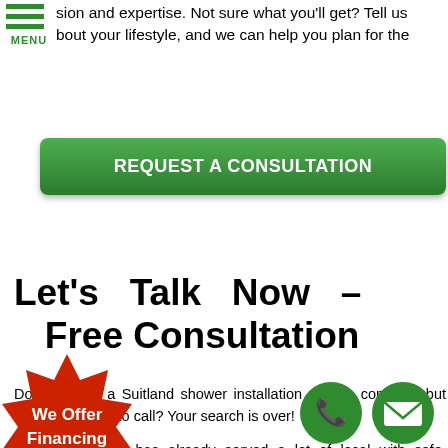sion and expertise. Not sure what you'll get? Tell us about your lifestyle, and we can help you plan for the
[Figure (other): Green hamburger menu icon with three horizontal lines and MENU label below in green]
[Figure (other): Green rounded rectangle button labeled REQUEST A CONSULTATION in bold white text]
Let’s Talk Now – Free Consultation
Do you need a Suitland shower installation service company but don’t know who to call? Your search is over!
B... Renovation has already served a lot of local ... with safe, functional, comfortable, accessible, a... cally pleasing showers. Our s... et a... ate met... as satisfied all of our previous d... a... re
[Figure (other): Red starburst/badge shape with white text We Offer Financing]
[Figure (other): Green circle phone icon]
[Figure (other): Green circle email/envelope icon]